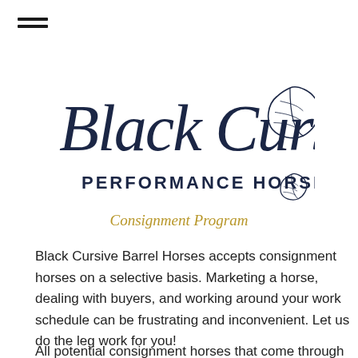[Figure (logo): Black Cursive Performance Horses logo with cursive script text and leaf illustration]
Consignment Program
Black Cursive Barrel Horses accepts consignment horses on a selective basis. Marketing a horse, dealing with buyers, and working around your work schedule can be frustrating and inconvenient. Let us do the leg work for you!
All potential consignment horses that come through